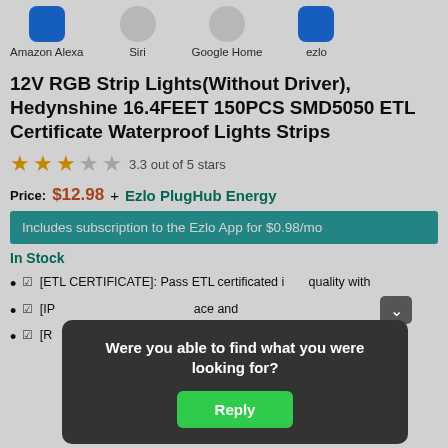[Figure (infographic): Row of smart assistant icons: Amazon Alexa, Siri, Google Home, ezlo]
12V RGB Strip Lights(Without Driver), Hedynshine 16.4FEET 150PCS SMD5050 ETL Certificate Waterproof Lights Strips
3.3 out of 5 stars
Price: $12.98 + Ezlo PlugHub Energy
Includes subscription to the Ezlo App for $0.98/mo
In Stock
[ETL CERTIFICATE]: Pass ETL certificated i... quality with...
[IP...] ...ace and...
[R...] ...e, and can...
Were you able to find what you were looking for?
Reply